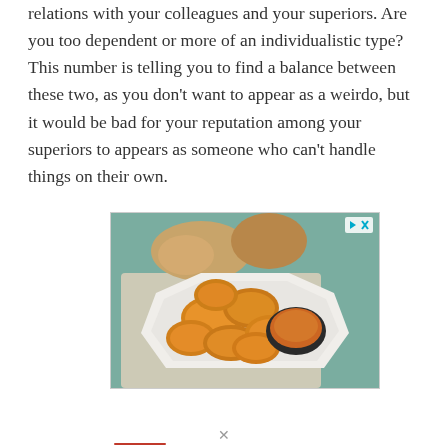relations with your colleagues and your superiors. Are you too dependent or more of an individualistic type? This number is telling you to find a balance between these two, as you don't want to appear as a weirdo, but it would be bad for your reputation among your superiors to appears as someone who can't handle things on their own.
[Figure (photo): Advertisement photo of fried chicken pieces on a white octagonal plate with a dark bowl of dipping sauce, and dinner rolls in the background on a light blue surface with a cloth napkin. Ad badge with play and close icons visible in top-right corner.]